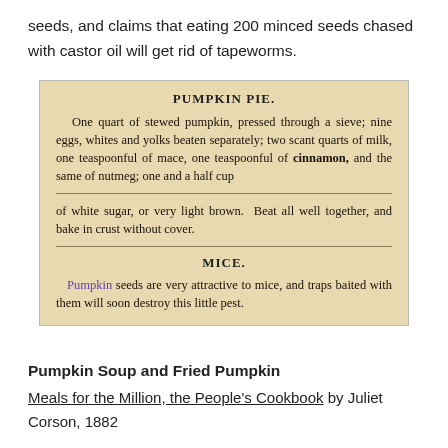seeds, and claims that eating 200 minced seeds chased with castor oil will get rid of tapeworms.
[Figure (photo): Scanned image of an old cookbook page showing two recipes: PUMPKIN PIE and MICE, printed in vintage serif typeface on aged paper.]
Pumpkin Soup and Fried Pumpkin
Meals for the Million, the People's Cookbook by Juliet Corson, 1882